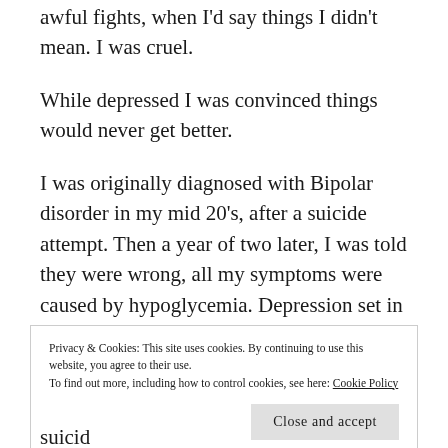awful fights, when I'd say things I didn't mean.  I was cruel.
While depressed I was convinced things would never get better.
I was originally diagnosed with Bipolar disorder in my mid 20's, after a suicide attempt.  Then a year of two later, I was told they were wrong, all my symptoms were caused by hypoglycemia.  Depression set in and  I was then diagnosed with clinical
Privacy & Cookies: This site uses cookies.  By continuing to use this website, you agree to their use.
To find out more, including how to control cookies, see here: Cookie Policy
Close and accept
suicid...